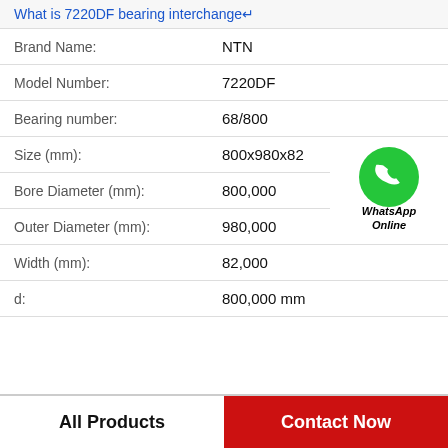What is 7220DF bearing interchange↵
| Property | Value |
| --- | --- |
| Brand Name: | NTN |
| Model Number: | 7220DF |
| Bearing number: | 68/800 |
| Size (mm): | 800x980x82 |
| Bore Diameter (mm): | 800,000 |
| Outer Diameter (mm): | 980,000 |
| Width (mm): | 82,000 |
| d: | 800,000 mm |
[Figure (logo): WhatsApp Online green phone icon with text WhatsApp Online]
All Products
Contact Now